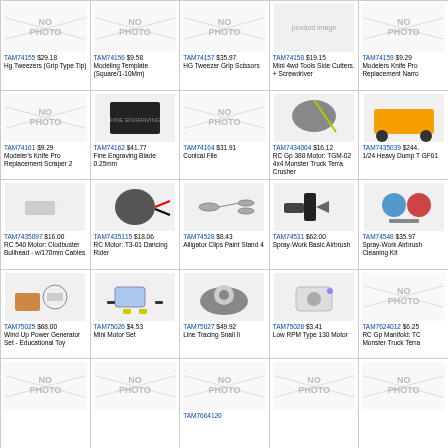| TAM74155 $29.18 Hg Tweezers (Grip Type Tip) | TAM74156 $9.58 Modeling Template (Square/1-10Mm) | TAM74157 $35.97 HG Tweezer Grip Scissors | TAM74158 $19.15 Mini 4wd Tools Side Cutters. + Screwdriver | TAM74159 $9.29 Modelers Knife Pro Replacement Narro |
| TAM74161 $9.29 Modeler's Knife Pro Replacement Scraper 2 | TAM74162 $41.77 Fine Engraving Blade 0.25mm | TAM74164 $31.91 Conical File | TAM7434004 $16.12 RC Gp 380 Motor: TGM-02 4x4 Monster Truck Terra Crusher | TAM7435039 $244. 1/24 Heavy Dump T GF01 |
| TAM7435097 $16.00 RC 540 Motor: Clodbuster Bullhead - w/170mm Cables | TAM7435115 $18.06 RC Motor: T3-01 Dancing Rider | TAM74528 $8.43 Alligator Clips Paint Stand 4 | TAM74531 $62.00 Spray-Work Basic Airbrush | TAM74548 $35.97 Spray-Work Airbrush Cleaning Kit |
| TAM75025 $68.00 Wind Up Power Generator Set - Educational Toy | TAM75026 $4.53 Mini Motor Set | TAM75027 $49.92 Line Tracing Snail Ii | TAM75028 $3.41 Low RPM Type 130 Motor | TAM7624012 $6.25 RC Gp Manifold: TC Monster Truck Terra |
| NO PHOTO | NO PHOTO | TAM7664120 NO PHOTO | NO PHOTO | NO PHOTO |